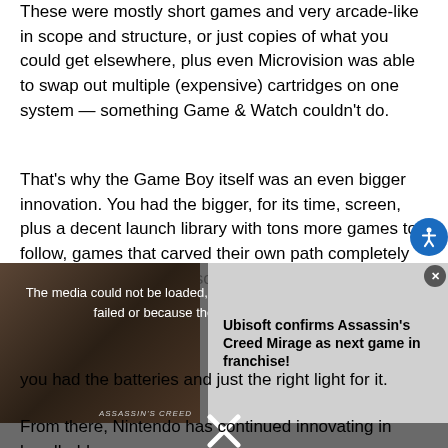These were mostly short games and very arcade-like in scope and structure, or just copies of what you could get elsewhere, plus even Microvision was able to swap out multiple (expensive) cartridges on one system — something Game & Watch couldn't do.
That's why the Game Boy itself was an even bigger innovation. You had the bigger, for its time, screen, plus a decent launch library with tons more games to follow, games that carved their own path completely separate from their console counterparts.
[Figure (screenshot): Video player overlay showing a darkened background with an Assassin's Creed video thumbnail on the left, an error message in the center reading 'The media could not be loaded, either because the server or network failed or because the format is not supported.', and an article promo on the right reading 'Ubisoft confirms Assassin's Creed Mirage as next game in franchise!' with a close X button.]
you had the batteries and just the right light for it.
From there, Nintendo has continued innovating in handheld